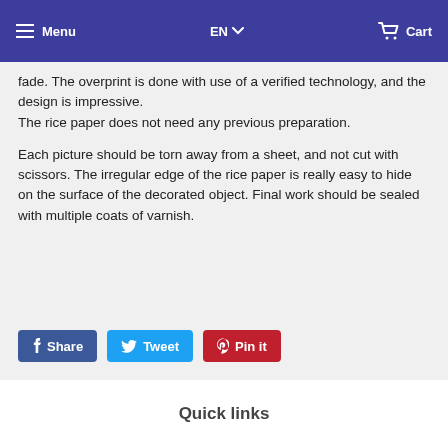Menu  EN  Cart
fade. The overprint is done with use of a verified technology, and the design is impressive.
The rice paper does not need any previous preparation.

Each picture should be torn away from a sheet, and not cut with scissors. The irregular edge of the rice paper is really easy to hide on the surface of the decorated object. Final work should be sealed with multiple coats of varnish.
[Figure (other): Social share buttons: Share (Facebook, blue), Tweet (Twitter, light blue), Pin it (Pinterest, red)]
Quick links